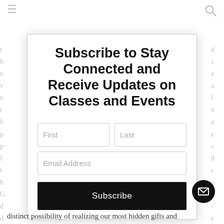[Figure (screenshot): Navigation bar with hamburger menu icon on the left and search icon on the right]
t h n v n t b p p f t h G d d s t
d s e u l n a e s d r o . - e t n e
Subscribe to Stay Connected and Receive Updates on Classes and Events
First
Last
Email Address
Subscribe
distinct possibility of realizing our most hidden gifts and